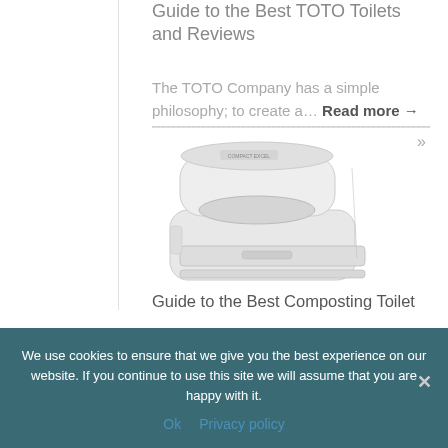Guide to the Best TOTO Toilets and Reviews
The TOTO Company has a simple philosophy; to create a… Read more →
[Figure (photo): White composting toilet unit, compact boxy shape with a rounded lid]
Guide to the Best Composting Toilet
We use cookies to ensure that we give you the best experience on our website. If you continue to use this site we will assume that you are happy with it.
Ok   Privacy policy